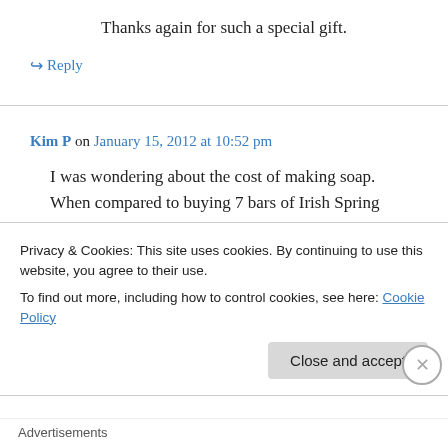Thanks again for such a special gift.
↪ Reply
Kim P on January 15, 2012 at 10:52 pm
I was wondering about the cost of making soap. When compared to buying 7 bars of Irish Spring
Privacy & Cookies: This site uses cookies. By continuing to use this website, you agree to their use.
To find out more, including how to control cookies, see here: Cookie Policy
Close and accept
Advertisements